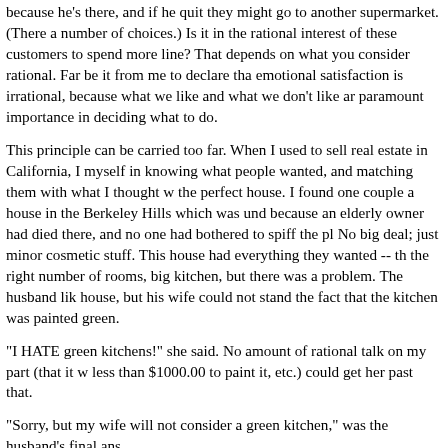because he's there, and if he quit they might go to another supermarket. (There a number of choices.) Is it in the rational interest of these customers to spend more line? That depends on what you consider rational. Far be it from me to declare tha emotional satisfaction is irrational, because what we like and what we don't like ar paramount importance in deciding what to do.
This principle can be carried too far. When I used to sell real estate in California, I myself in knowing what people wanted, and matching them with what I thought w the perfect house. I found one couple a house in the Berkeley Hills which was und because an elderly owner had died there, and no one had bothered to spiff the pl No big deal; just minor cosmetic stuff. This house had everything they wanted -- th the right number of rooms, big kitchen, but there was a problem. The husband lik house, but his wife could not stand the fact that the kitchen was painted green.
"I HATE green kitchens!" she said. No amount of rational talk on my part (that it w less than $1000.00 to paint it, etc.) could get her past that.
"Sorry, but my wife will not consider a green kitchen," was the husband's final ans
I thought they were crazy. But then, I'd bought and sold enough property, and bee landlord long enough that I was color blind about such things.
You think that's crazy? Let's look at the shiny-car-door-handles-and-shiny-hubcap principle. I will never forget as long as I live my experience as an auto mechanic a car dealer in Richmond, California. He extended credit to "high risk" buyers no oth dealer would touch, and among other things, he'd occasionally press me into serv doing repossessions, which went a long way towards instilling in me an appreciati our Second Amendment. But what I learned above all from this guy was the P.T. B principle that people are not rational. That they don't mind being swindled as long acheive emotional satisfaction in the process.
I'll never forget a 1965 Dodge Polara which barely ran, for which my boss paid $2 turned around sold for $799.95 (on credit of course). I'll spare most of the details